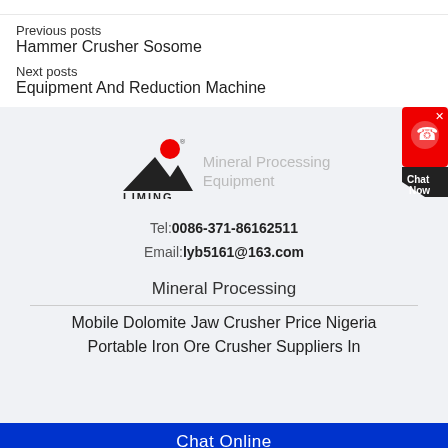Previous posts
Hammer Crusher Sosome
Next posts
Equipment And Reduction Machine
[Figure (logo): Liming Mineral Processing Equipment logo with red circle and black mountain/triangle shape]
Mineral Processing Equipment
Tel:0086-371-86162511
Email:lyb5161@163.com
Mineral Processing
Mobile Dolomite Jaw Crusher Price Nigeria
Portable Iron Ore Crusher Suppliers In
Chat Online